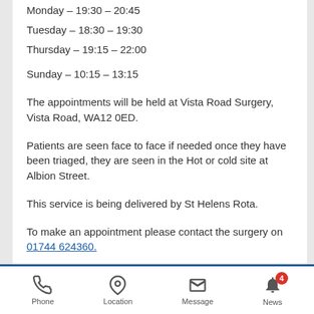Monday – 19:30 – 20:45
Tuesday – 18:30 – 19:30
Thursday – 19:15 – 22:00
Sunday – 10:15 – 13:15
The appointments will be held at Vista Road Surgery, Vista Road, WA12 0ED.
Patients are seen face to face if needed once they have been triaged, they are seen in the Hot or cold site at Albion Street.
This service is being delivered by St Helens Rota.
To make an appointment please contact the surgery on 01744 624360.
Phone  Location  Message  News